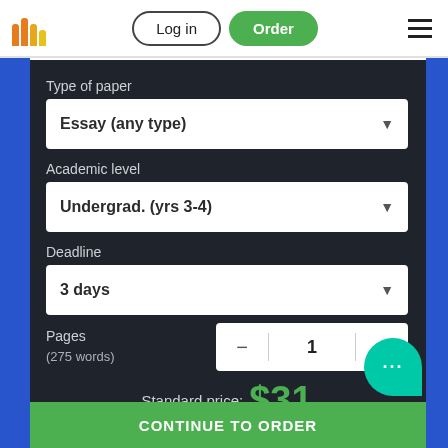Log in | Order
Type of paper
Essay (any type)
Academic level
Undergrad. (yrs 3-4)
Deadline
3 days
Pages
(275 words)
1
Standard price: $31
CONTINUE TO ORDER